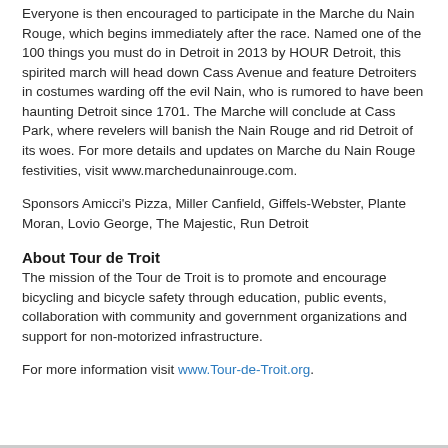Everyone is then encouraged to participate in the Marche du Nain Rouge, which begins immediately after the race. Named one of the 100 things you must do in Detroit in 2013 by HOUR Detroit, this spirited march will head down Cass Avenue and feature Detroiters in costumes warding off the evil Nain, who is rumored to have been haunting Detroit since 1701. The Marche will conclude at Cass Park, where revelers will banish the Nain Rouge and rid Detroit of its woes. For more details and updates on Marche du Nain Rouge festivities, visit www.marchedunainrouge.com.
Sponsors Amicci's Pizza, Miller Canfield, Giffels-Webster, Plante Moran, Lovio George, The Majestic, Run Detroit
About Tour de Troit
The mission of the Tour de Troit is to promote and encourage bicycling and bicycle safety through education, public events, collaboration with community and government organizations and support for non-motorized infrastructure.
For more information visit www.Tour-de-Troit.org.